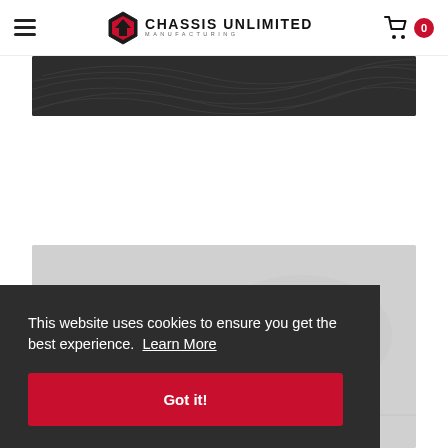Chassis Unlimited Manufacturing — Navigation bar with hamburger menu and cart (0 items)
[Figure (screenshot): Dark charcoal banner with subtle topographic line pattern]
[Figure (photo): Partial view of a grayscale product/vehicle chassis component photo]
This website uses cookies to ensure you get the best experience. Learn More
Got it!